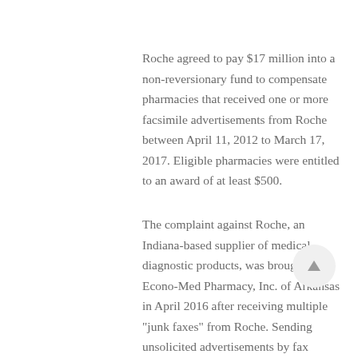Roche agreed to pay $17 million into a non-reversionary fund to compensate pharmacies that received one or more facsimile advertisements from Roche between April 11, 2012 to March 17, 2017. Eligible pharmacies were entitled to an award of at least $500.
The complaint against Roche, an Indiana-based supplier of medical diagnostic products, was brought by Econo-Med Pharmacy, Inc. of Arkansas in April 2016 after receiving multiple "junk faxes" from Roche. Sending unsolicited advertisements by fax without providing an opt-out notice is illegal under the federal Telephone Consumer Protection Act, as well as the Indiana Deceptive Consumer Sales Act. Roche's solicitations contained no such notice,